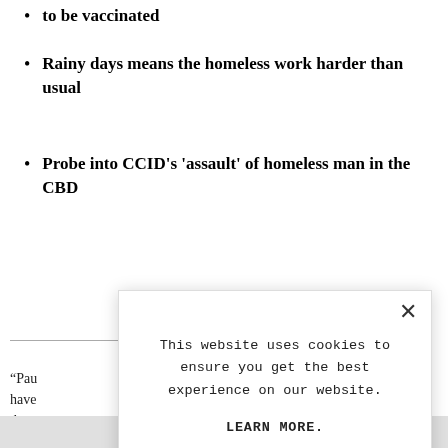to be vaccinated
Rainy days means the homeless work harder than usual
Probe into CCID's 'assault' of homeless man in the CBD
“Pau... have... does... enou... mak...
“If h...
[Figure (screenshot): Cookie consent modal dialog overlaying article content. Modal contains text: 'This website uses cookies to ensure you get the best experience on our website.' followed by a 'LEARN MORE.' link and an 'ACCEPT COOKIES' button. A close (X) button is in the top right corner of the modal.]